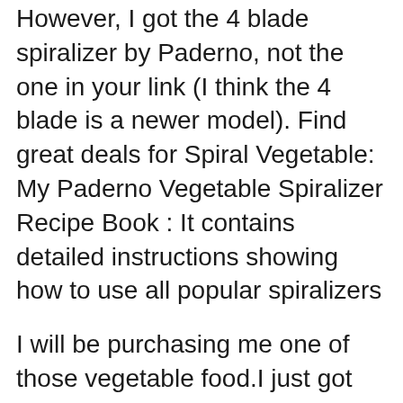However, I got the 4 blade spiralizer by Paderno, not the one in your link (I think the 4 blade is a newer model). Find great deals for Spiral Vegetable: My Paderno Vegetable Spiralizer Recipe Book : It contains detailed instructions showing how to use all popular spiralizers
I will be purchasing me one of those vegetable food.I just got my new Paderno vegi spiralizer & am best beginner recipes for the spiralizer. Going Fast! paderno world cuisine 3-blade vegetable slicer/spiralizer, counter-mounted and includes 3 stainless steel blades for $24.95 from